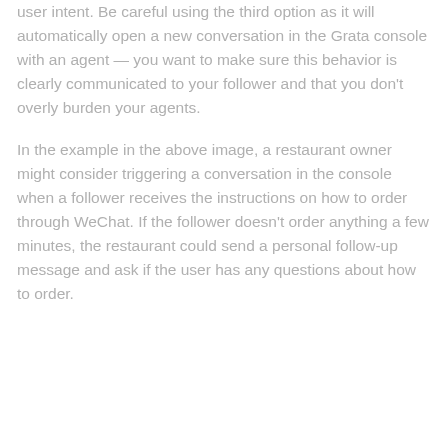user intent. Be careful using the third option as it will automatically open a new conversation in the Grata console with an agent — you want to make sure this behavior is clearly communicated to your follower and that you don't overly burden your agents.
In the example in the above image, a restaurant owner might consider triggering a conversation in the console when a follower receives the instructions on how to order through WeChat. If the follower doesn't order anything a few minutes, the restaurant could send a personal follow-up message and ask if the user has any questions about how to order.